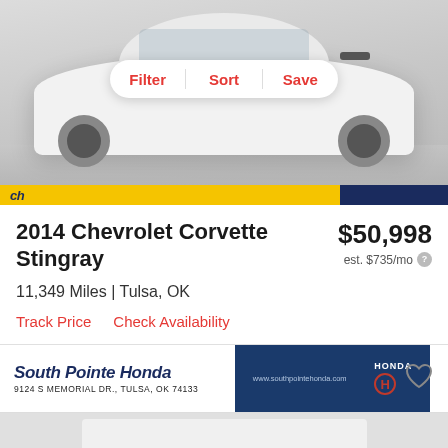[Figure (photo): White 2014 Chevrolet Corvette Stingray photographed from front-left angle on white/grey reflective surface. UI overlay shows Filter, Sort, Save buttons in a white pill-shaped bar.]
Filter  Sort  Save
2014 Chevrolet Corvette Stingray
$50,998
est. $735/mo
11,349 Miles | Tulsa, OK
Track Price    Check Availability
[Figure (photo): South Pointe Honda dealer advertisement banner: South Pointe Honda, 9124 S Memorial Dr., Tulsa, OK 74133, www.southpointehonda.com, Honda logo]
[Figure (photo): Partial view of next car listing card preview at bottom of page]